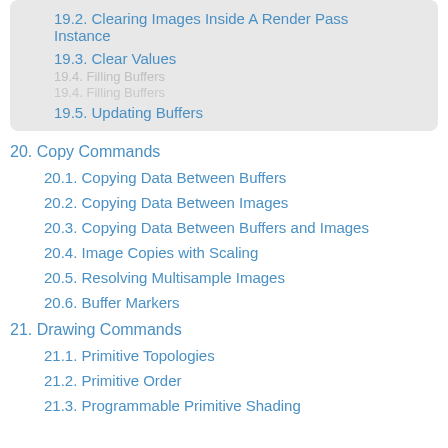19.2. Clearing Images Inside A Render Pass Instance
19.3. Clear Values
19.4. Filling Buffers
19.5. Updating Buffers
20. Copy Commands
20.1. Copying Data Between Buffers
20.2. Copying Data Between Images
20.3. Copying Data Between Buffers and Images
20.4. Image Copies with Scaling
20.5. Resolving Multisample Images
20.6. Buffer Markers
21. Drawing Commands
21.1. Primitive Topologies
21.2. Primitive Order
21.3. Programmable Primitive Shading